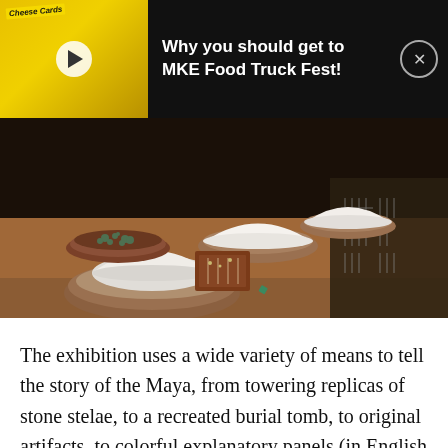[Figure (screenshot): Dark ad banner showing a food truck video thumbnail on the left with a play button, and text 'Why you should get to MKE Food Truck Fest!' on the right with a close (X) button]
[Figure (photo): Museum exhibition photo showing Maya artifact replicas on a brown display table: several ceramic bowls with white mounded contents, a bowl with small jade/stone pieces, and artifact layout panels on a dark background]
The exhibition uses a wide variety of means to tell the story of the Maya, from towering replicas of stone stelae, to a recreated burial tomb, to original artifacts, to colorful explanatory panels (in English